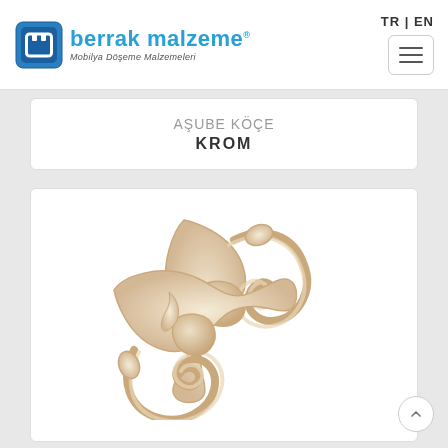[Figure (logo): Berrak Malzeme logo with blue icon and brand name, subtitle: Mobilya Döşeme Malzemeleri]
TR | EN
AŞUBE KÖÇE
KROM
[Figure (photo): Decorative ornamental corner piece in cream/beige color with baroque scroll design]